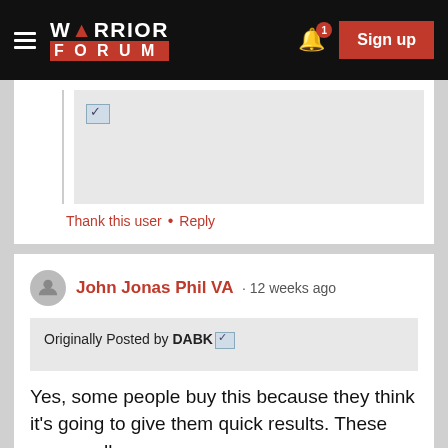Warrior Forum — Sign up
[Figure (screenshot): Partial forum post showing a checkmark icon in a quoted content box, followed by Thank this user and Reply links in red]
Thank this user • Reply
John Jonas Phil VA · 12 weeks ago
Originally Posted by DABK
Yes, some people buy this because they think it's going to give them quick results. These are usually